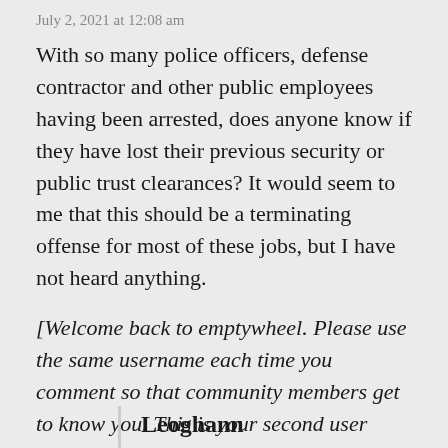July 2, 2021 at 12:08 am
With so many police officers, defense contractor and other public employees having been arrested, does anyone know if they have lost their previous security or public trust clearances? It would seem to me that this should be a terminating offense for most of these jobs, but I have not heard anything.
[Welcome back to emptywheel. Please use the same username each time you comment so that community members get to know you. This is your second user name; your previous name used is Brianm0122. Thanks. /~Rayne]
Leoghann